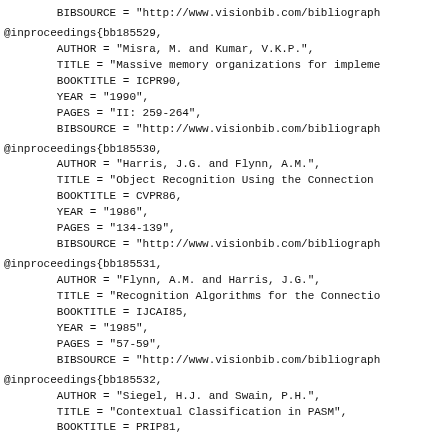BIBSOURCE = "http://www.visionbib.com/bibliograph
@inproceedings{bb185529,
        AUTHOR = "Misra, M. and Kumar, V.K.P.",
        TITLE = "Massive memory organizations for impleme
        BOOKTITLE = ICPR90,
        YEAR = "1990",
        PAGES = "II: 259-264",
        BIBSOURCE = "http://www.visionbib.com/bibliograph
@inproceedings{bb185530,
        AUTHOR = "Harris, J.G. and Flynn, A.M.",
        TITLE = "Object Recognition Using the Connection
        BOOKTITLE = CVPR86,
        YEAR = "1986",
        PAGES = "134-139",
        BIBSOURCE = "http://www.visionbib.com/bibliograph
@inproceedings{bb185531,
        AUTHOR = "Flynn, A.M. and Harris, J.G.",
        TITLE = "Recognition Algorithms for the Connectio
        BOOKTITLE = IJCAI85,
        YEAR = "1985",
        PAGES = "57-59",
        BIBSOURCE = "http://www.visionbib.com/bibliograph
@inproceedings{bb185532,
        AUTHOR = "Siegel, H.J. and Swain, P.H.",
        TITLE = "Contextual Classification in PASM",
        BOOKTITLE = PRIP81,